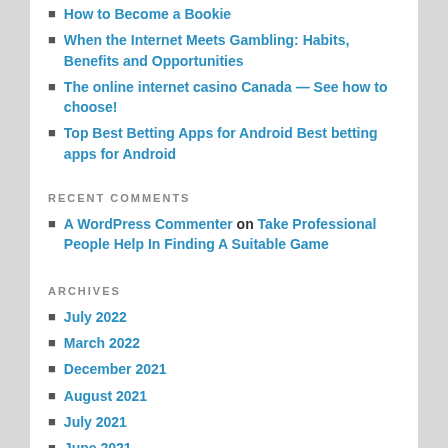How to Become a Bookie
When the Internet Meets Gambling: Habits, Benefits and Opportunities
The online internet casino Canada — See how to choose!
Top Best Betting Apps for Android Best betting apps for Android
RECENT COMMENTS
A WordPress Commenter on Take Professional People Help In Finding A Suitable Game
ARCHIVES
July 2022
March 2022
December 2021
August 2021
July 2021
June 2021
December 2020
October 2020